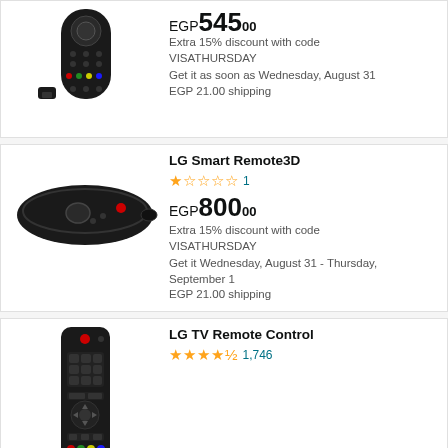[Figure (photo): LG magic remote control with USB dongle]
EGP 545.00
Extra 15% discount with code VISATHURSDAY
Get it as soon as Wednesday, August 31
EGP 21.00 shipping
[Figure (photo): LG Smart Remote 3D oval-shaped magic remote]
LG Smart Remote3D
1 star out of 5, 1 review
EGP 800.00
Extra 15% discount with code VISATHURSDAY
Get it Wednesday, August 31 - Thursday, September 1
EGP 21.00 shipping
[Figure (photo): LG TV Remote Control standard rectangular remote]
LG TV Remote Control
4.5 stars out of 5, 1,746 reviews